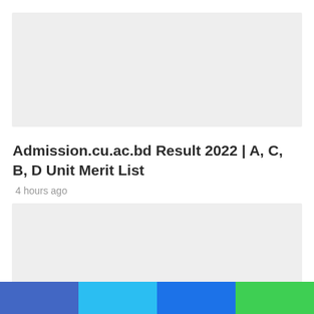[Figure (other): Gray placeholder image block at top of article card]
Admission.cu.ac.bd Result 2022 | A, C, B, D Unit Merit List
4 hours ago
[Figure (other): Gray placeholder image block below title, second article card]
[Figure (other): Social share bar with four colored sections: blue (Facebook), light blue (Twitter), dark blue (LinkedIn), green (WhatsApp)]